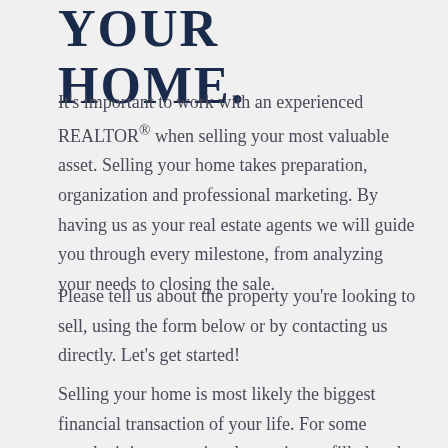YOUR HOME.
It's important to work with an experienced REALTOR® when selling your most valuable asset. Selling your home takes preparation, organization and professional marketing. By having us as your real estate agents we will guide you through every milestone, from analyzing your needs to closing the sale.
Please tell us about the property you're looking to sell, using the form below or by contacting us directly. Let's get started!
Selling your home is most likely the biggest financial transaction of your life. For some people, it is an emotional experience, filled to the brim with powerful